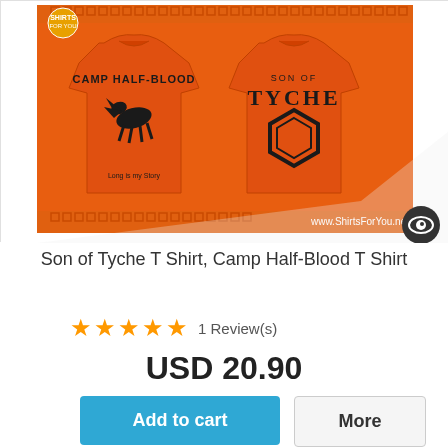[Figure (photo): Product image showing front and back of an orange t-shirt. Front has 'CAMP HALF-BLOOD' text with a Pegasus graphic and 'Long is my Story' text. Back has 'SON OF TYCHE' text with a hexagon ring graphic. Image displayed on orange background with Greek key border pattern and www.ShirtsForYou.net URL. An eye icon appears in the lower right corner.]
Son of Tyche T Shirt, Camp Half-Blood T Shirt
★★★★★ 1 Review(s)
USD 20.90
Add to cart
More